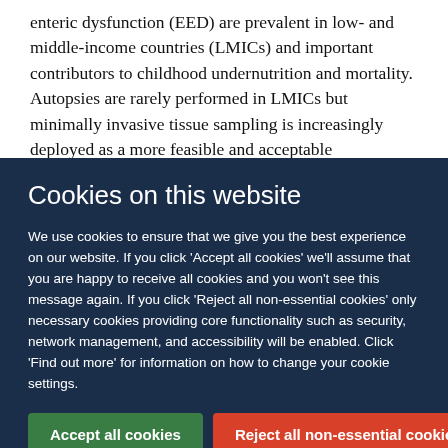enteric dysfunction (EED) are prevalent in low- and middle-income countries (LMICs) and important contributors to childhood undernutrition and mortality. Autopsies are rarely performed in LMICs but minimally invasive tissue sampling is increasingly deployed as a more feasible and acceptable
Cookies on this website
We use cookies to ensure that we give you the best experience on our website. If you click 'Accept all cookies' we'll assume that you are happy to receive all cookies and you won't see this message again. If you click 'Reject all non-essential cookies' only necessary cookies providing core functionality such as security, network management, and accessibility will be enabled. Click 'Find out more' for information on how to change your cookie settings.
Accept all cookies | Reject all non-essential cookies | Find out more